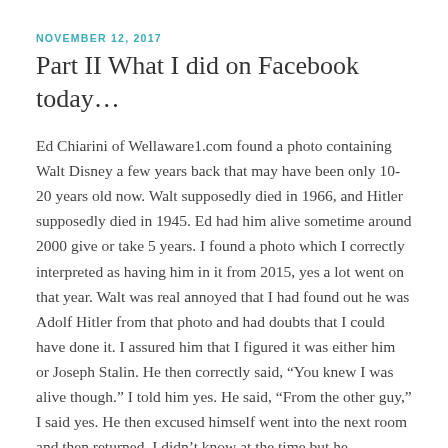NOVEMBER 12, 2017
Part II What I did on Facebook today…
Ed Chiarini of Wellaware1.com found a photo containing Walt Disney a few years back that may have been only 10-20 years old now. Walt supposedly died in 1966, and Hitler supposedly died in 1945. Ed had him alive sometime around 2000 give or take 5 years. I found a photo which I correctly interpreted as having him in it from 2015, yes a lot went on that year. Walt was real annoyed that I had found out he was Adolf Hitler from that photo and had doubts that I could have done it. I assured him that I figured it was either him or Joseph Stalin. He then correctly said, “You knew I was alive though.” I told him yes. He said, “From the other guy,” I said yes. He then excused himself went into the next room and then returned. I didn’t know at the time but he